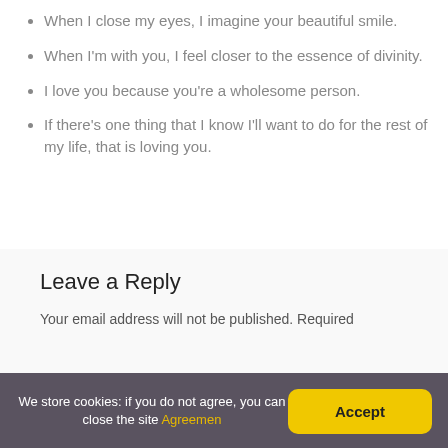When I close my eyes, I imagine your beautiful smile.
When I'm with you, I feel closer to the essence of divinity.
I love you because you're a wholesome person.
If there's one thing that I know I'll want to do for the rest of my life, that is loving you.
Leave a Reply
Your email address will not be published. Required
We store cookies: if you do not agree, you can close the site Agreemen